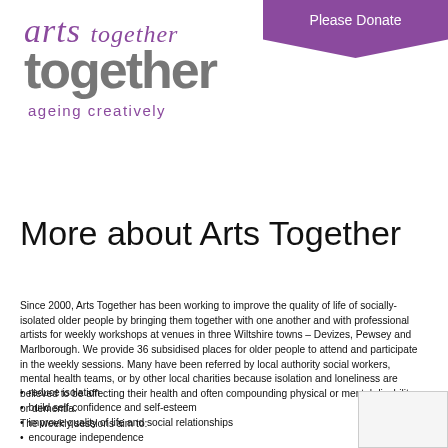[Figure (logo): Arts Together logo with 'arts' in purple italic serif font and 'together' in large grey bold sans-serif, with tagline 'ageing creatively' in purple]
Please Donate
More about Arts Together
Since 2000, Arts Together has been working to improve the quality of life of socially-isolated older people by bringing them together with one another and with professional artists for weekly workshops at venues in three Wiltshire towns – Devizes, Pewsey and Marlborough. We provide 36 subsidised places for older people to attend and participate in the weekly sessions. Many have been referred by local authority social workers, mental health teams, or by other local charities because isolation and loneliness are believed to be affecting their health and often compounding physical or mental disability or dementia.
The weekly sessions aim to:
reduce isolation
build self-confidence and self-esteem
improve quality of life and social relationships
encourage independence
enhance well-being